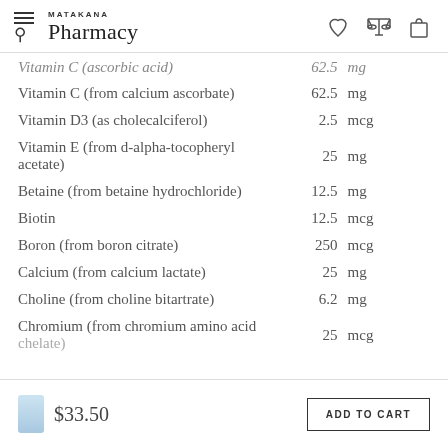MATAKANA Pharmacy
| Ingredient | Amount | Unit |
| --- | --- | --- |
| Vitamin C (ascorbic acid) | 62.5 | mg |
| Vitamin C (from calcium ascorbate) | 62.5 | mg |
| Vitamin D3 (as cholecalciferol) | 2.5 | mcg |
| Vitamin E (from d-alpha-tocopheryl acetate) | 25 | mg |
| Betaine (from betaine hydrochloride) | 12.5 | mg |
| Biotin | 12.5 | mcg |
| Boron (from boron citrate) | 250 | mcg |
| Calcium (from calcium lactate) | 25 | mg |
| Choline (from choline bitartrate) | 6.2 | mg |
| Chromium (from chromium amino acid chelate) | 25 | mcg |
$33.50
ADD TO CART